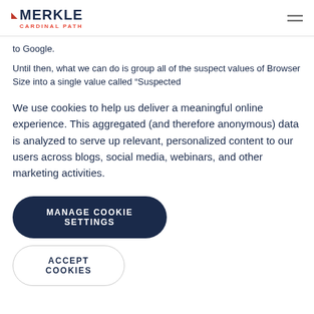MERKLE CARDINAL PATH
to Google.
Until then, what we can do is group all of the suspect values of Browser Size into a single value called “Suspected
We use cookies to help us deliver a meaningful online experience. This aggregated (and therefore anonymous) data is analyzed to serve up relevant, personalized content to our users across blogs, social media, webinars, and other marketing activities.
MANAGE COOKIE SETTINGS
ACCEPT COOKIES